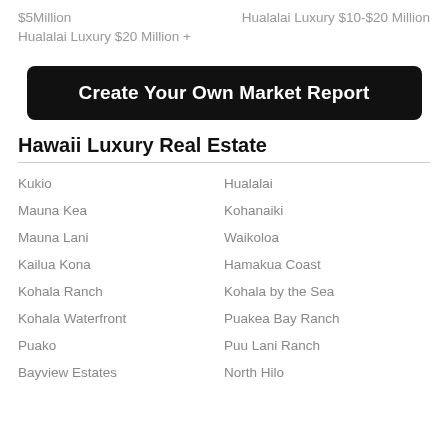$5Million
Hualalai Luxury $10-$20 Million
Hualalai Luxury $20 Million +
Create Your Own Market Report
Hawaii Luxury Real Estate
Kukio
Hualalai
Mauna Kea
Kohanaiki
Mauna Lani
Waikoloa
Kailua Kona
Hamakua Coast
Kohala Ranch
Kohala by the Sea
Kohala Waterfront
Puakea Bay Ranch
Puako
Puu Lani Ranch
Bayview Estates
North Hilo